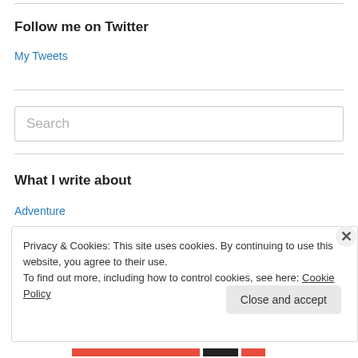Follow me on Twitter
My Tweets
Search
What I write about
Adventure
Privacy & Cookies: This site uses cookies. By continuing to use this website, you agree to their use.
To find out more, including how to control cookies, see here: Cookie Policy
Close and accept